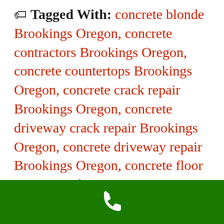🏷 Tagged With: concrete blonde Brookings Oregon, concrete contractors Brookings Oregon, concrete countertops Brookings Oregon, concrete crack repair Brookings Oregon, concrete driveway crack repair Brookings Oregon, concrete driveway repair Brookings Oregon, concrete floor repair Brookings Oregon, concrete foundation repair Brookings Oregon, concrete mixer Brookings Oregon, concrete operational stage Brookings Oregon, concrete paint Brookings Oregon, concrete pavers Brookings Oregon, concrete poem Brookings Oregon, concrete repair
[Figure (other): Green footer bar with white phone icon]